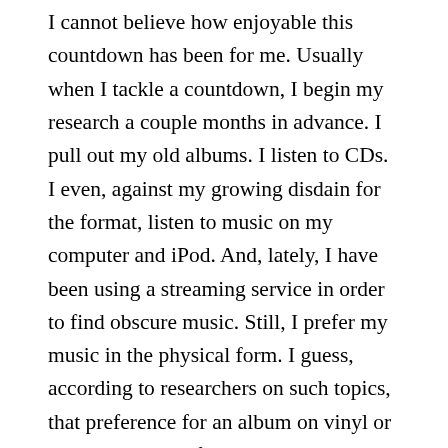I cannot believe how enjoyable this countdown has been for me. Usually when I tackle a countdown, I begin my research a couple months in advance. I pull out my old albums. I listen to CDs. I even, against my growing disdain for the format, listen to music on my computer and iPod. And, lately, I have been using a streaming service in order to find obscure music. Still, I prefer my music in the physical form. I guess, according to researchers on such topics, that preference for an album on vinyl or CD points to the fact that I am getting old, since older folk prefer their music on physical means.
But, I started my modest collection when I was in grade school, so I should not be surprised